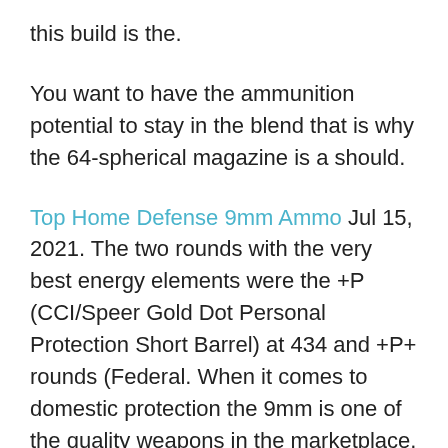this build is the.
You want to have the ammunition potential to stay in the blend that is why the 64-spherical magazine is a should.
Top Home Defense 9mm Ammo Jul 15, 2021. The two rounds with the very best energy elements were the +P (CCI/Speer Gold Dot Personal Protection Short Barrel) at 434 and +P+ rounds (Federal. When it comes to domestic protection the 9mm is one of the quality weapons in the marketplace. 9mm rounds provide an top notch stability of penetrating electricity